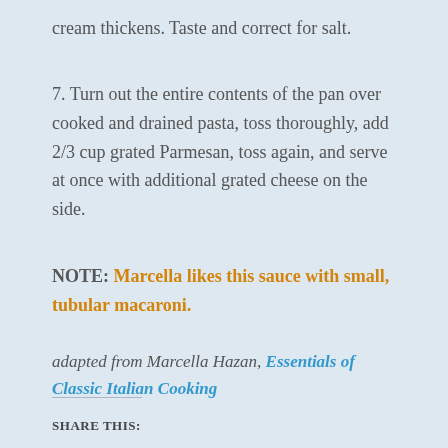cream thickens. Taste and correct for salt.
7. Turn out the entire contents of the pan over cooked and drained pasta, toss thoroughly, add 2/3 cup grated Parmesan, toss again, and serve at once with additional grated cheese on the side.
NOTE: Marcella likes this sauce with small, tubular macaroni.
adapted from Marcella Hazan, Essentials of Classic Italian Cooking
SHARE THIS: